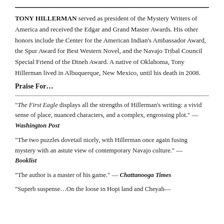TONY HILLERMAN served as president of the Mystery Writers of America and received the Edgar and Grand Master Awards. His other honors include the Center for the American Indian's Ambassador Award, the Spur Award for Best Western Novel, and the Navajo Tribal Council Special Friend of the Dineh Award. A native of Oklahoma, Tony Hillerman lived in Albuquerque, New Mexico, until his death in 2008.
Praise For…
"The First Eagle displays all the strengths of Hillerman's writing: a vivid sense of place, nuanced characters, and a complex, engrossing plot." — Washington Post
"The two puzzles dovetail nicely, with Hillerman once again fusing mystery with an astute view of contemporary Navajo culture." — Booklist
"The author is a master of his game." — Chattanooga Times